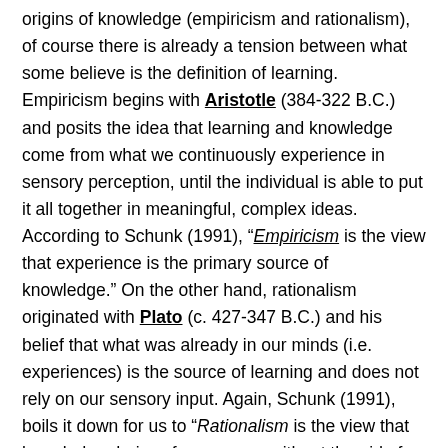origins of knowledge (empiricism and rationalism), of course there is already a tension between what some believe is the definition of learning. Empiricism begins with Aristotle (384-322 B.C.) and posits the idea that learning and knowledge come from what we continuously experience in sensory perception, until the individual is able to put it all together in meaningful, complex ideas. According to Schunk (1991), “Empiricisim is the view that experience is the primary source of knowledge.” On the other hand, rationalism originated with Plato (c. 427-347 B.C.) and his belief that what was already in our minds (i.e. experiences) is the source of learning and does not rely on our sensory input. Again, Schunk (1991), boils it down for us to “Rationalism is the view that knowledge derives from reason without the aid of the senses.” What we experience, we come to know and understand from what is already in our minds. We are able to recall memories in order to make sense of this new information and store it